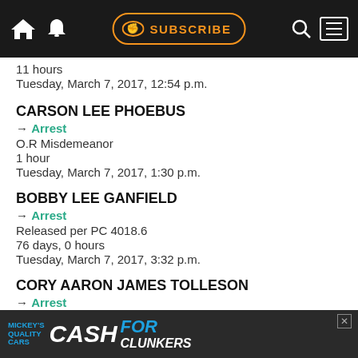SUBSCRIBE [nav bar]
11 hours
Tuesday, March 7, 2017, 12:54 p.m.
CARSON LEE PHOEBUS
→ Arrest
O.R Misdemeanor
1 hour
Tuesday, March 7, 2017, 1:30 p.m.
BOBBY LEE GANFIELD
→ Arrest
Released per PC 4018.6
76 days, 0 hours
Tuesday, March 7, 2017, 3:32 p.m.
CORY AARON JAMES TOLLESON
→ Arrest
Bail Bond
[Figure (other): Advertisement banner: Mickey's Quality Cars - CASH FOR CLUNKERS]